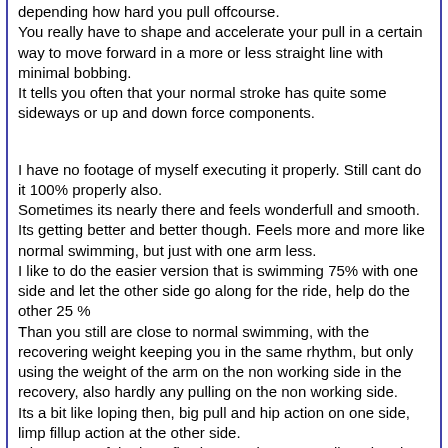depending how hard you pull offcourse.
You really have to shape and accelerate your pull in a certain way to move forward in a more or less straight line with minimal bobbing.
It tells you often that your normal stroke has quite some sideways or up and down force components.
I have no footage of myself executing it properly. Still cant do it 100% properly also.
Sometimes its nearly there and feels wonderfull and smooth. Its getting better and better though. Feels more and more like normal swimming, but just with one arm less.
I like to do the easier version that is swimming 75% with one side and let the other side go along for the ride, help do the other 25 %
Than you still are close to normal swimming, with the recovering weight keeping you in the same rhythm, but only using the weight of the arm on the non working side in the recovery, also hardly any pulling on the non working side.
Its a bit like loping then, big pull and hip action on one side, limp fillup action at the other side.
Gives most of the benefits, buts easier to stay aligned and keep the rhythm going.
If you then try to go from 75 % one side to 90 % one side for instance, you can feel where it starts to break down and work on that part.
she also has a great one arm freestyle.(and normal)
https://www.youtube.com/watch?v=vkt31KITOro (4 min20)